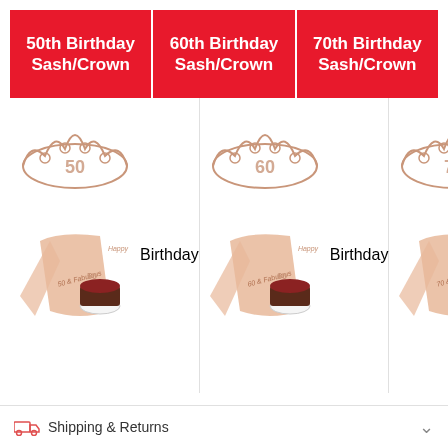[Figure (infographic): Three product banner labels side by side: '50th Birthday Sash/Crown', '60th Birthday Sash/Crown', '70th Birthday Sash/Crown' on red background]
[Figure (photo): Three product images side by side showing rose gold birthday sash and crown sets for 50th, 60th, and 70th birthdays with cake toppers]
Shipping & Returns